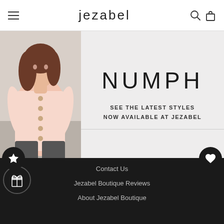jezabel
[Figure (photo): A woman wearing a pink button-up top and dark jeans, alongside a promotional banner for NUMPH clothing brand showing 'SEE THE LATEST STYLES NOW AVAILABLE AT JEZABEL']
NUMPH CLOTHING
SHOP NUMPH
Contact Us
Jezabel Boutique Reviews
About Jezabel Boutique